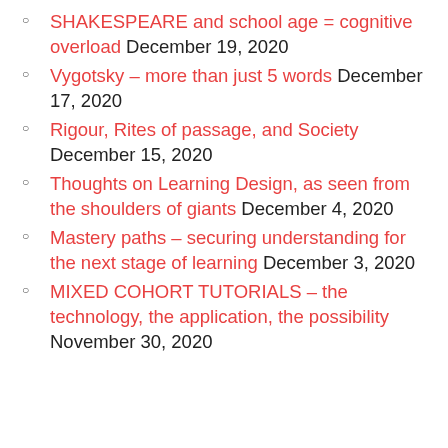SHAKESPEARE and school age = cognitive overload December 19, 2020
Vygotsky – more than just 5 words December 17, 2020
Rigour, Rites of passage, and Society December 15, 2020
Thoughts on Learning Design, as seen from the shoulders of giants December 4, 2020
Mastery paths – securing understanding for the next stage of learning December 3, 2020
MIXED COHORT TUTORIALS – the technology, the application, the possibility November 30, 2020